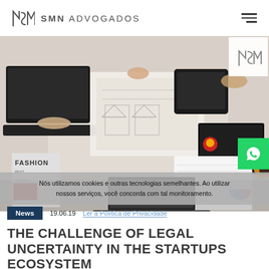SMN ADVOGADOS
[Figure (photo): Aerial view of people working at a table with laptops, notebooks, papers with drawings, tablets, coffee cups, and a Fashion magazine. Multiple hands visible working on various devices and documents.]
Nós utilizamos cookies e outras tecnologias semelhantes. Ao utilizar nossos serviços, você concorda com tal monitoramento.
Ler a Política de Privacidade
News   19.06.19   Ler a Política de Privacidade
THE CHALLENGE OF LEGAL UNCERTAINTY IN THE STARTUPS ECOSYSTEM